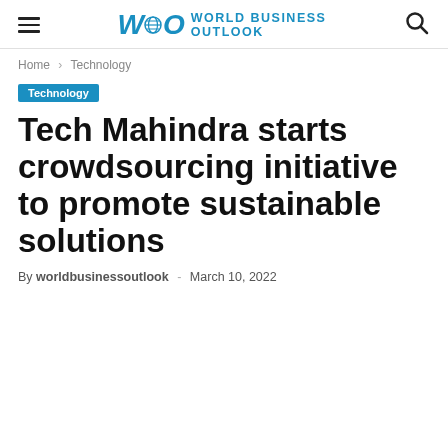World Business Outlook
Home › Technology
Technology
Tech Mahindra starts crowdsourcing initiative to promote sustainable solutions
By worldbusinessoutlook - March 10, 2022